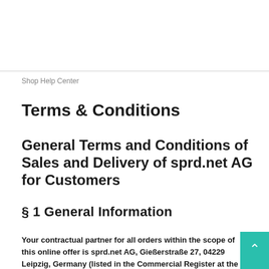Shop Help Center
Terms & Conditions
General Terms and Conditions of Sales and Delivery of sprd.net AG for Customers
§ 1 General Information
Your contractual partner for all orders within the scope of this online offer is sprd.net AG, Gießerstraße 27, 04229 Leipzig, Germany (listed in the Commercial Register at the Local Court